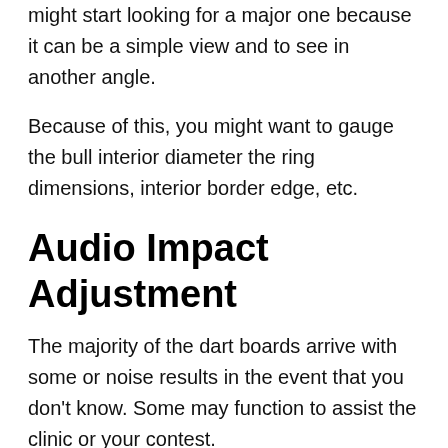might start looking for a major one because it can be a simple view and to see in another angle.
Because of this, you might want to gauge the bull interior diameter the ring dimensions, interior border edge, etc.
Audio Impact Adjustment
The majority of the dart boards arrive with some or noise results in the event that you don't know. Some may function to assist the clinic or your contest.
Seeing this, a few of users love since it might be deflecting playing with the match. This occurred, the users must make sure those electronic